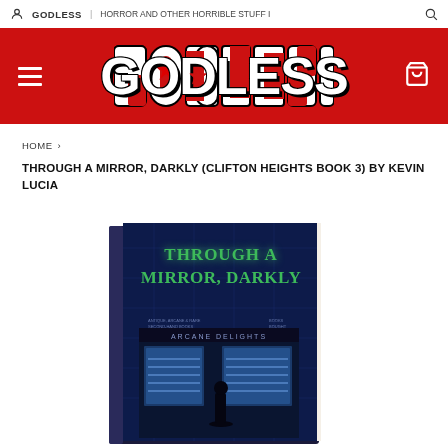GODLESS | HORROR AND OTHER HORRIBLE STUFF I
[Figure (logo): Godless logo in white block letters on red banner with star replacing letter O, hamburger menu icon on left, cart icon on right]
HOME ›
THROUGH A MIRROR, DARKLY (CLIFTON HEIGHTS BOOK 3) BY KEVIN LUCIA
[Figure (photo): Hardcover book titled 'Through A Mirror, Darkly' by Kevin Lucia showing a dark blue cover with a figure standing in front of a bookshop called Arcane Delights, with green glowing title text]